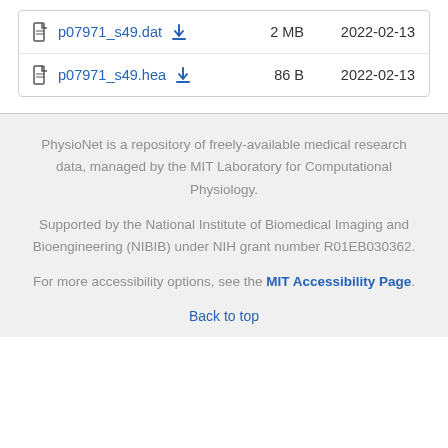| File |  | Size | Date |
| --- | --- | --- | --- |
| p07971_s49.dat | download | 2 MB | 2022-02-13 |
| p07971_s49.hea | download | 86 B | 2022-02-13 |
PhysioNet is a repository of freely-available medical research data, managed by the MIT Laboratory for Computational Physiology.
Supported by the National Institute of Biomedical Imaging and Bioengineering (NIBIB) under NIH grant number R01EB030362.
For more accessibility options, see the MIT Accessibility Page.
Back to top